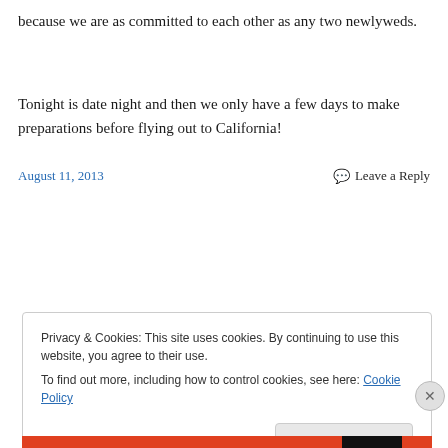because we are as committed to each other as any two newlyweds.
Tonight is date night and then we only have a few days to make preparations before flying out to California!
August 11, 2013    Leave a Reply
Privacy & Cookies: This site uses cookies. By continuing to use this website, you agree to their use.
To find out more, including how to control cookies, see here: Cookie Policy